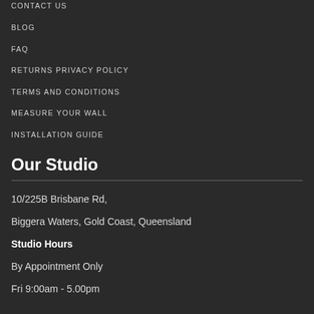CONTACT US
BLOG
FAQ
RETURNS PRIVACY POLICY
TERMS AND CONDITIONS
MEASURE YOUR WALL
INSTALLATION GUIDE
Our Studio
10/225B Brisbane Rd,
Biggera Waters, Gold Coast, Queensland
Studio Hours
By Appointment Only
Fri 9:00am - 5.00pm